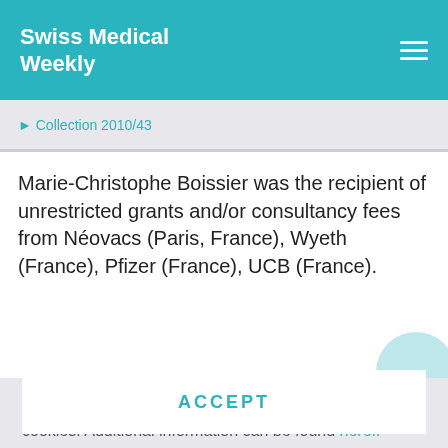Swiss Medical Weekly
Collection 2010/43
Marie-Christophe Boissier was the recipient of unrestricted grants and/or consultancy fees from Néovacs (Paris, France), Wyeth (France), Pfizer (France), UCB (France).
In order to offer you a better user experience, we use cookies. Additional information can be found here..
ACCEPT